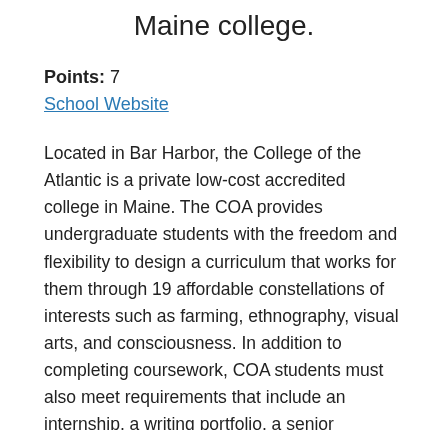Maine college.
Points: 7
School Website
Located in Bar Harbor, the College of the Atlantic is a private low-cost accredited college in Maine. The COA provides undergraduate students with the freedom and flexibility to design a curriculum that works for them through 19 affordable constellations of interests such as farming, ethnography, visual arts, and consciousness. In addition to completing coursework, COA students must also meet requirements that include an internship, a writing portfolio, a senior capstone project, and community service. Outside of the classroom, the salty ocean air lingers across the campus, which is comprised mostly of environmentally conscious buildings and rustic